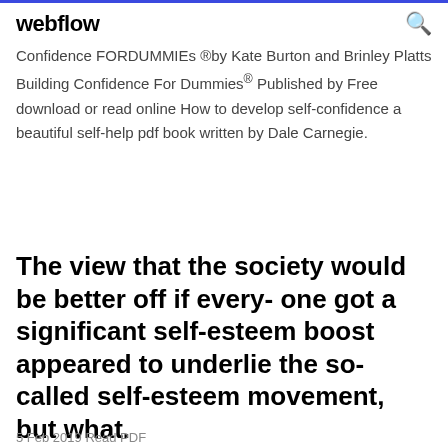webflow
Confidence FORDUMMIEs ®by Kate Burton and Brinley Platts Building Confidence For Dummies® Published by Free download or read online How to develop self-confidence a beautiful self-help pdf book written by Dale Carnegie.
The view that the society would be better off if every- one got a significant self-esteem boost appeared to underlie the so-called self-esteem movement, but what.
5 Feb 2019 Read PDF